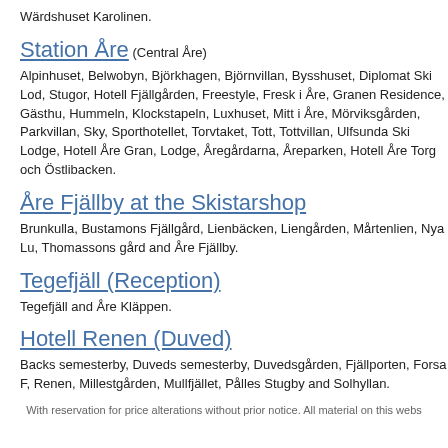Wärdshuset Karolinen.
Station Åre (Central Åre)
Alpinhuset, Belwobyn, Björkhagen, Björnvillan, Bysshuset, Diplomat Ski Lodge, Stugor, Hotell Fjällgården, Freestyle, Fresk i Åre, Granen Residence, Gästhuset Hummeln, Klockstapeln, Luxhuset, Mitt i Åre, Mörviksgården, Parkvillan, Skyhotellet, Sporthotellet, Torvtaket, Tott, Tottvillan, Ulfsunda Ski Lodge, Hotell Åre Grane Lodge, Åregårdarna, Åreparken, Hotell Åre Torg och Östlibacken.
Åre Fjällby at the Skistarshop
Brunkulla, Bustamons Fjällgård, Lienbäcken, Liengården, Mårtenlien, Nya Lu, Thomassons gård and Åre Fjällby.
Tegefjäll (Reception)
Tegefjäll and Åre Kläppen.
Hotell Renen (Duved)
Backs semesterby, Duveds semesterby, Duvedsgården, Fjällporten, Forsa F, Renen, Millestgården, Mullfjället, Pålles Stugby and Solhyllan.
With reservation for price alterations without prior notice. All material on this webs